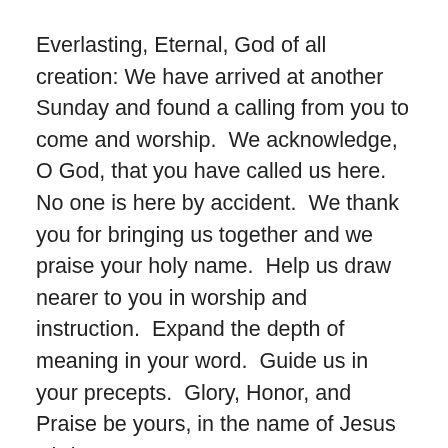Everlasting, Eternal, God of all creation: We have arrived at another Sunday and found a calling from you to come and worship.  We acknowledge, O God, that you have called us here. No one is here by accident.  We thank you for bringing us together and we praise your holy name.  Help us draw nearer to you in worship and instruction.  Expand the depth of meaning in your word.  Guide us in your precepts.  Glory, Honor, and Praise be yours, in the name of Jesus Christ.
Stewardship Moment:
When Moses ascended the mountain with Joshua, to seek the word of God, no one knew how long he would be there. The account in Exodus puts Moses' time away from the Israelites at 47 days.  Moses waited six days, on the